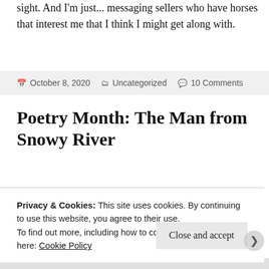sight. And I'm just... messaging sellers who have horses that interest me that I think I might get along with.
October 8, 2020   Uncategorized   10 Comments
Poetry Month: The Man from Snowy River
Amanda kindly pointed out that it's poetry month,
Privacy & Cookies: This site uses cookies. By continuing to use this website, you agree to their use.
To find out more, including how to control cookies, see here: Cookie Policy
Close and accept